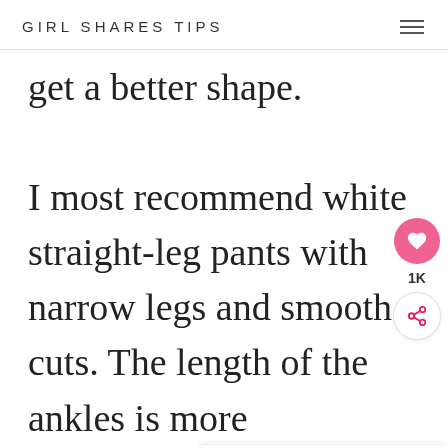GIRL SHARES TIPS
get a better shape.

I most recommend white straight-leg pants with narrow legs and smooth cuts. The length of the ankles is more refreshing,